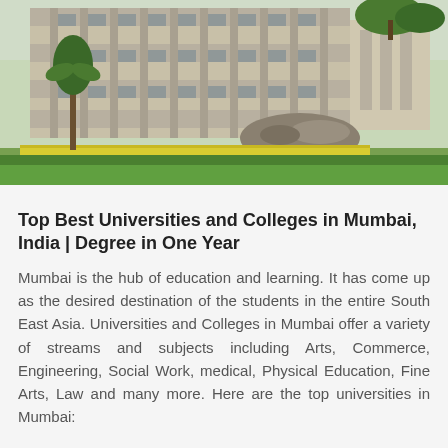[Figure (photo): Photograph of a university or college campus building in Mumbai. The building has multiple floors with columns and large windows. In the foreground there is a manicured garden with yellow flowering hedges, green lawns and shrubs. Trees are visible on the right side of the image.]
Top Best Universities and Colleges in Mumbai, India | Degree in One Year
Mumbai is the hub of education and learning. It has come up as the desired destination of the students in the entire South East Asia. Universities and Colleges in Mumbai offer a variety of streams and subjects including Arts, Commerce, Engineering, Social Work, medical, Physical Education, Fine Arts, Law and many more. Here are the top universities in Mumbai: